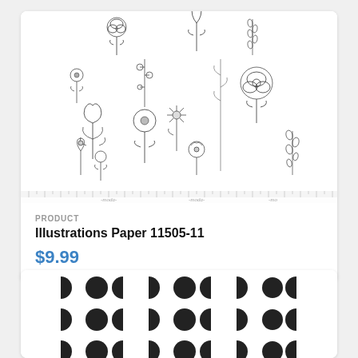[Figure (illustration): Black and white line drawing of scattered wildflowers, stems, and botanical illustrations on white fabric/paper background, with ruler markings along the bottom edge and 'moda' text watermarks.]
PRODUCT
Illustrations Paper 11505-11
$9.99
[Figure (illustration): Fabric pattern with rows of half-circle and circle shapes in dark charcoal/black on white background, resembling a moon phase or dot pattern.]